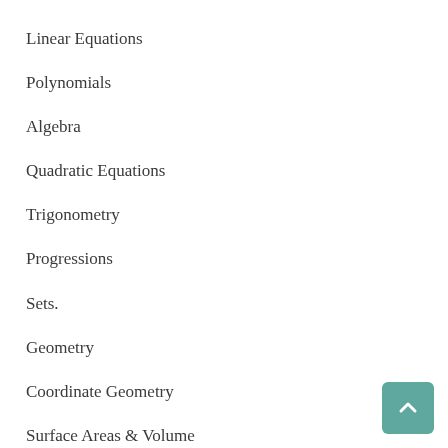Linear Equations
Polynomials
Algebra
Quadratic Equations
Trigonometry
Progressions
Sets.
Geometry
Coordinate Geometry
Surface Areas & Volume